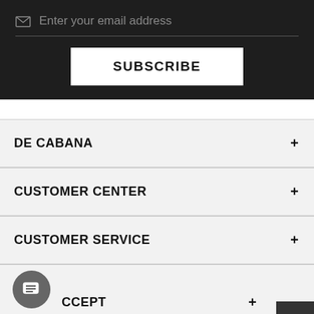Enter your email address
SUBSCRIBE
DE CABANA
CUSTOMER CENTER
CUSTOMER SERVICE
CCEPT